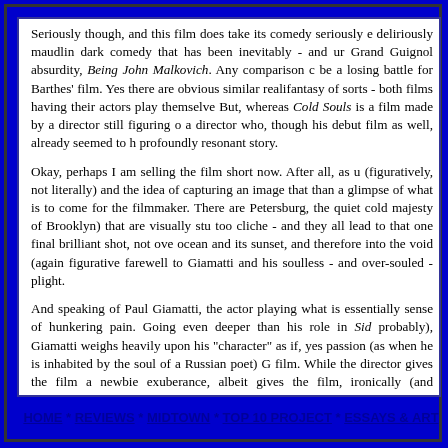Seriously though, and this film does take its comedy seriously e deliriously maudlin dark comedy that has been inevitably - and ur Grand Guignol absurdity, Being John Malkovich. Any comparison c be a losing battle for Barthes' film. Yes there are obvious similar realifantasy of sorts - both films having their actors play themselve But, whereas Cold Souls is a film made by a director still figuring o a director who, though his debut film as well, already seemed to h profoundly resonant story.

Okay, perhaps I am selling the film short now. After all, as u (figuratively, not literally) and the idea of capturing an image that than a glimpse of what is to come for the filmmaker. There are Petersburg, the quiet cold majesty of Brooklyn) that are visually stu too cliche - and they all lead to that one final brilliant shot, not ove ocean and its sunset, and therefore into the void (again figurative farewell to Giamatti and his soulless - and over-souled - plight.

And speaking of Paul Giamatti, the actor playing what is essentially sense of hunkering pain. Going even deeper than his role in Sid probably), Giamatti weighs heavily upon his "character" as if, yes passion (as when he is inhabited by the soul of a Russian poet) G film. While the director gives the film a newbie exuberance, albeit gives the film, ironically (and inevitably), its soul. Now we fade into as the house lights come up, we see the credit read "a film by Soph
HOME * REVIEWS * MIDTOWN * TOP 10 PROJECT * ESSAYS & ART